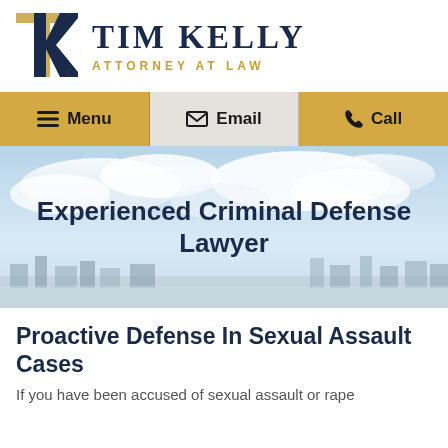[Figure (logo): Tim Kelly Attorney at Law logo with stylized TK monogram in navy and gold]
[Figure (infographic): Navigation bar with three items: Menu (hamburger icon, gold background), Email (envelope icon, light gray background), Call (phone icon, gold background)]
[Figure (photo): Hero image with city skyline and cloudy blue sky background]
Experienced Criminal Defense Lawyer
Proactive Defense In Sexual Assault Cases
If you have been accused of sexual assault or rape